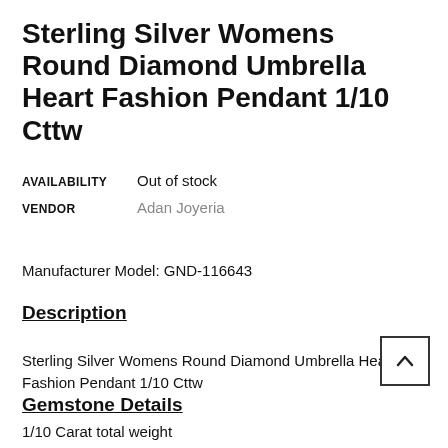Sterling Silver Womens Round Diamond Umbrella Heart Fashion Pendant 1/10 Cttw
| Attribute | Value |
| --- | --- |
| AVAILABILITY | Out of stock |
| VENDOR | Adan Joyeria |
Manufacturer Model: GND-116643
Description
Sterling Silver Womens Round Diamond Umbrella Heart Fashion Pendant 1/10 Cttw
Gemstone Details
1/10 Carat total weight